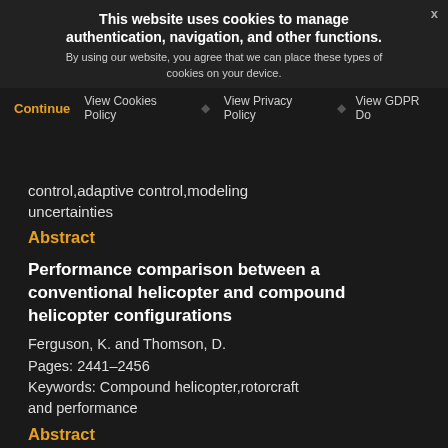This website uses cookies to manage authentication, navigation, and other functions. By using our website, you agree that we can place these types of cookies on your device.
Continue  View Cookies Policy  View Privacy Policy  View GDPR Do
control,adaptive control,modeling uncertainties
Abstract
Performance comparison between a conventional helicopter and compound helicopter configurations
Ferguson, K. and Thomson, D.
Pages: 2441–2456
Keywords: Compound helicopter,rotorcraft and performance
Abstract
Finite-time attitude tracking control for spacecraft with uncertain actuator